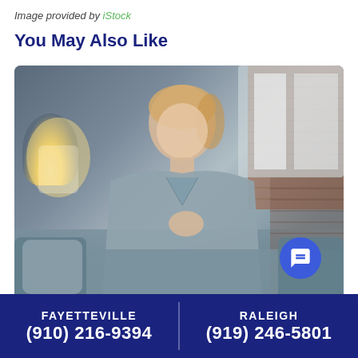Image provided by iStock
You May Also Like
[Figure (photo): Woman in gray sweater sitting on a gray sofa, holding her chest with a concerned expression, in a living room with brick walls and a lamp in the background. A blue chat button is visible in the lower right corner of the image.]
FAYETTEVILLE (910) 216-9394 | RALEIGH (919) 246-5801